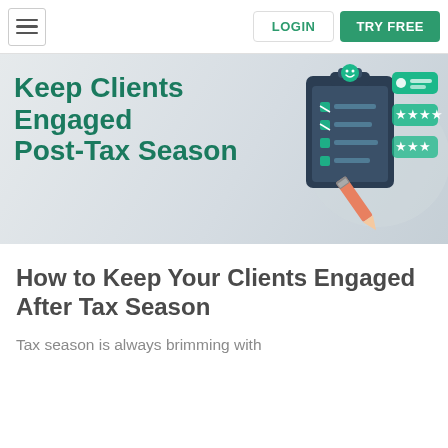LOGIN  TRY FREE
[Figure (illustration): Hero banner with teal bold text 'Keep Clients Engaged Post-Tax Season' on light gray gradient background, with a teal and dark clipboard/checklist illustration with stars and a pencil on the right side.]
How to Keep Your Clients Engaged After Tax Season
Tax season is always brimming with